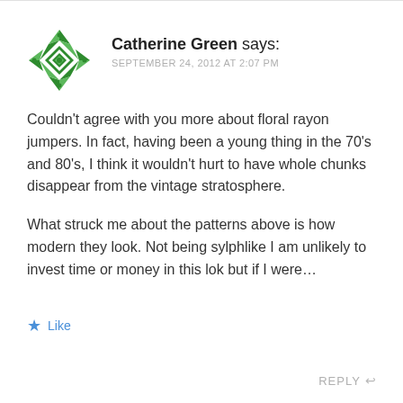[Figure (illustration): Circular avatar with green and white geometric/floral diamond pattern on a white background]
Catherine Green says:
SEPTEMBER 24, 2012 AT 2:07 PM
Couldn’t agree with you more about floral rayon jumpers. In fact, having been a young thing in the 70’s and 80’s, I think it wouldn’t hurt to have whole chunks disappear from the vintage stratosphere.
What struck me about the patterns above is how modern they look. Not being sylphlike I am unlikely to invest time or money in this lok but if I were…
★ Like
REPLY ↩